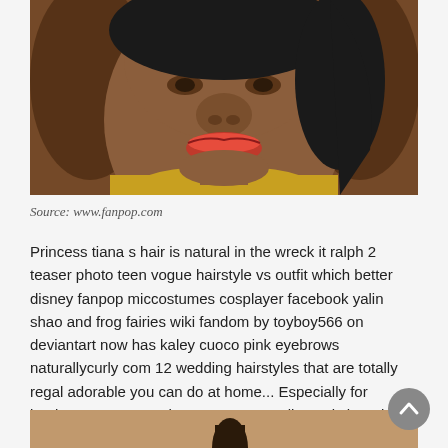[Figure (illustration): Animated illustration of Princess Tiana from Disney, close-up of her face showing dark skin, red lips, green earring, and black hair, wearing a yellow outfit, brown background.]
Source: www.fanpop.com
Princess tiana s hair is natural in the wreck it ralph 2 teaser photo teen vogue hairstyle vs outfit which better disney fanpop miccostumes cosplayer facebook yalin shao and frog fairies wiki fandom by toyboy566 on deviantart now has kaley cuoco pink eyebrows naturallycurly com 12 wedding hairstyles that are totally regal adorable you can do at home... Especially for beginners, you can show your personality and charming.
[Figure (illustration): Bottom portion of another Disney animated image, tan/brown background with a partial figure visible.]